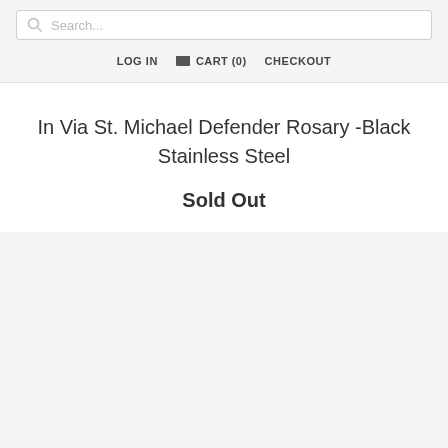Search...
LOG IN   CART (0)   CHECKOUT
In Via St. Michael Defender Rosary -Black Stainless Steel
Sold Out